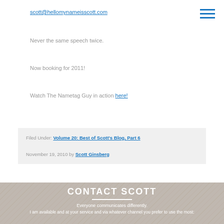scott@hellomynameisscott.com
Never the same speech twice.
Now booking for 2011!
Watch The Nametag Guy in action here!
Filed Under: Volume 20: Best of Scott's Blog, Part 6
November 19, 2010 by Scott Ginsberg
CONTACT SCOTT
Everyone communicates differently.
I am available and at your service and via whatever channel you prefer to use the most: